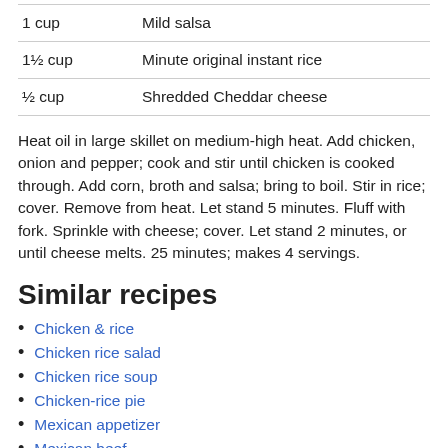| 1 cup | Mild salsa |
| 1½ cup | Minute original instant rice |
| ½ cup | Shredded Cheddar cheese |
Heat oil in large skillet on medium-high heat. Add chicken, onion and pepper; cook and stir until chicken is cooked through. Add corn, broth and salsa; bring to boil. Stir in rice; cover. Remove from heat. Let stand 5 minutes. Fluff with fork. Sprinkle with cheese; cover. Let stand 2 minutes, or until cheese melts. 25 minutes; makes 4 servings.
Similar recipes
Chicken & rice
Chicken rice salad
Chicken rice soup
Chicken-rice pie
Mexican appetizer
Mexican beef